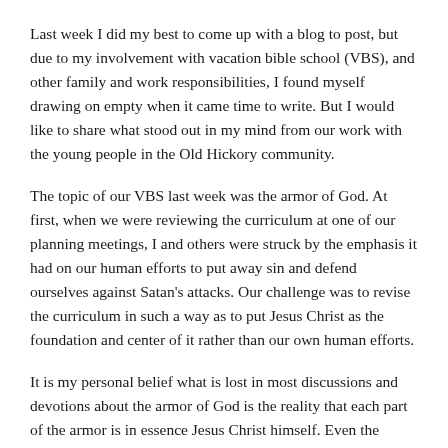Last week I did my best to come up with a blog to post, but due to my involvement with vacation bible school (VBS), and other family and work responsibilities, I found myself drawing on empty when it came time to write. But I would like to share what stood out in my mind from our work with the young people in the Old Hickory community.
The topic of our VBS last week was the armor of God. At first, when we were reviewing the curriculum at one of our planning meetings, I and others were struck by the emphasis it had on our human efforts to put away sin and defend ourselves against Satan's attacks. Our challenge was to revise the curriculum in such a way as to put Jesus Christ as the foundation and center of it rather than our own human efforts.
It is my personal belief what is lost in most discussions and devotions about the armor of God is the reality that each part of the armor is in essence Jesus Christ himself. Even the sword of the Spirit, which is the word of God, points us to the living Word, Jesus Christ. To separate each part out individually as if it stands on its own is to miss the point of this whole passage.